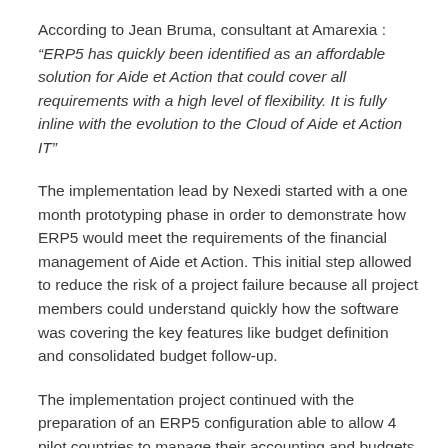According to Jean Bruma, consultant at Amarexia : “ERP5 has quickly been identified as an affordable solution for Aide et Action that could cover all requirements with a high level of flexibility. It is fully inline with the evolution to the Cloud of Aide et Action IT”
The implementation lead by Nexedi started with a one month prototyping phase in order to demonstrate how ERP5 would meet the requirements of the financial management of Aide et Action. This initial step allowed to reduce the risk of a project failure because all project members could understand quickly how the software was covering the key features like budget definition and consolidated budget follow-up.
The implementation project continued with the preparation of an ERP5 configuration able to allow 4 pilot countries to manage their accounting and budgets with